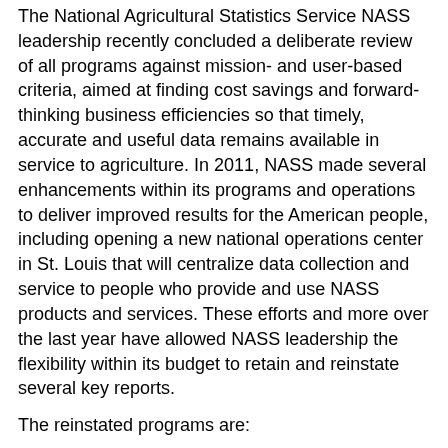The National Agricultural Statistics Service NASS leadership recently concluded a deliberate review of all programs against mission- and user-based criteria, aimed at finding cost savings and forward-thinking business efficiencies so that timely, accurate and useful data remains available in service to agriculture. In 2011, NASS made several enhancements within its programs and operations to deliver improved results for the American people, including opening a new national operations center in St. Louis that will centralize data collection and service to people who provide and use NASS products and services. These efforts and more over the last year have allowed NASS leadership the flexibility within its budget to retain and reinstate several key reports.
The reinstated programs are:
Annual Reports on Farm Numbers, Land in Farms Reports and Farm Income
Catfish and Trout Reports (data collection begins Dec. 9; report released Dec. 20)
Annual Floriculture Report